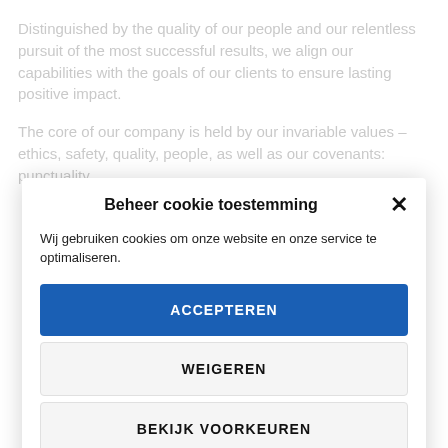Distinguished by the quality of our people and our relentless pursuit of the most successful results, we align our capabilities with the goals of our clients to ensure lasting positive impact.
The core of our company is held by our invariable values – ethics, safety, quality, people, as well as our covenants: punctuality,
Beheer cookie toestemming
Wij gebruiken cookies om onze website en onze service te optimaliseren.
ACCEPTEREN
WEIGEREN
BEKIJK VOORKEUREN
Cookiebeleid  Privacybeleid